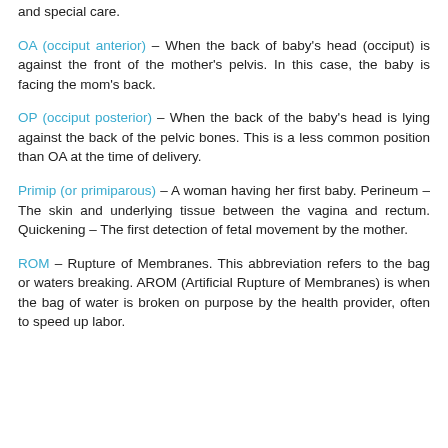and special care.
OA (occiput anterior) – When the back of baby's head (occiput) is against the front of the mother's pelvis. In this case, the baby is facing the mom's back.
OP (occiput posterior) – When the back of the baby's head is lying against the back of the pelvic bones. This is a less common position than OA at the time of delivery.
Primip (or primiparous) – A woman having her first baby. Perineum – The skin and underlying tissue between the vagina and rectum. Quickening – The first detection of fetal movement by the mother.
ROM – Rupture of Membranes. This abbreviation refers to the bag or waters breaking. AROM (Artificial Rupture of Membranes) is when the bag of water is broken on purpose by the health provider, often to speed up labor.